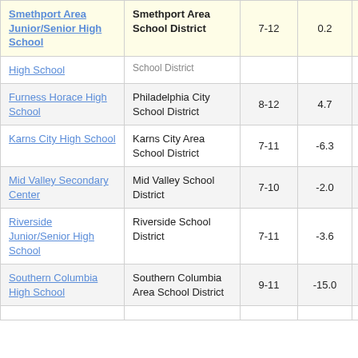| School | District | Grades | Value |  |
| --- | --- | --- | --- | --- |
| Smethport Area Junior/Senior High School | Smethport Area School District | 7-12 | 0.2 | 3 |
| High School | School District |  |  |  |
| Furness Horace High School | Philadelphia City School District | 8-12 | 4.7 |  |
| Karns City High School | Karns City Area School District | 7-11 | -6.3 |  |
| Mid Valley Secondary Center | Mid Valley School District | 7-10 | -2.0 |  |
| Riverside Junior/Senior High School | Riverside School District | 7-11 | -3.6 |  |
| Southern Columbia High School | Southern Columbia Area School District | 9-11 | -15.0 |  |